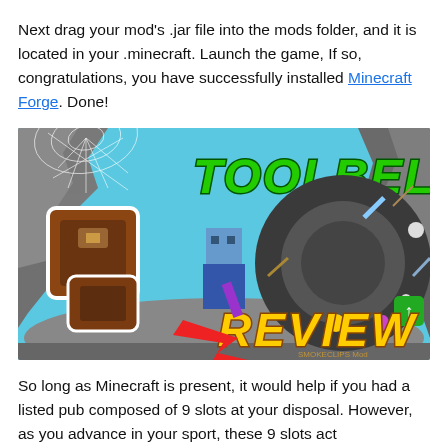Next drag your mod's .jar file into the mods folder, and it is located in your .minecraft. Launch the game, If so, congratulations, you have successfully installed Minecraft Forge. Done!
[Figure (screenshot): Minecraft Toolbelt mod review thumbnail image showing a Minecraft character with tools arranged in a radial belt interface, with text 'TOOLBELT' in green and 'REVIEW' in gold on a blue cave background.]
So long as Minecraft is present, it would help if you had a listed pub composed of 9 slots at your disposal. However, as you advance in your sport, these 9 slots act inadequately. Instead of stupidly boosting their